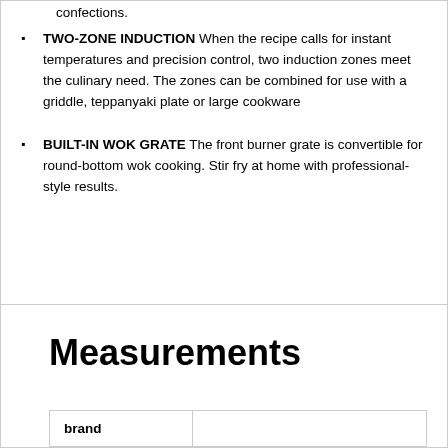confections.
TWO-ZONE INDUCTION When the recipe calls for instant temperatures and precision control, two induction zones meet the culinary need. The zones can be combined for use with a griddle, teppanyaki plate or large cookware
BUILT-IN WOK GRATE The front burner grate is convertible for round-bottom wok cooking. Stir fry at home with professional-style results.
Measurements
| brand |  |
| --- | --- |
|  |  |